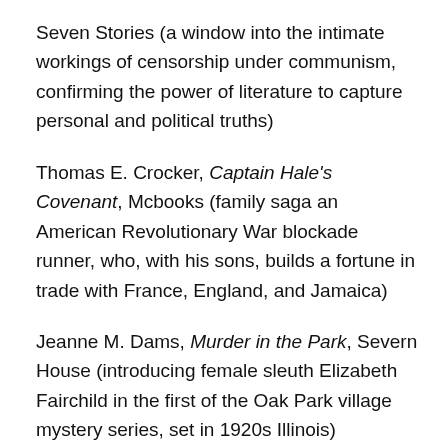Seven Stories (a window into the intimate workings of censorship under communism, confirming the power of literature to capture personal and political truths)
Thomas E. Crocker, Captain Hale's Covenant, Mcbooks (family saga an American Revolutionary War blockade runner, who, with his sons, builds a fortune in trade with France, England, and Jamaica)
Jeanne M. Dams, Murder in the Park, Severn House (introducing female sleuth Elizabeth Fairchild in the first of the Oak Park village mystery series, set in 1920s Illinois)
Danielle Daniel, Daughters of the Deer, Random House Canada (novel imagines the lives of women in the